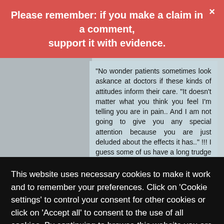Please remember: if you make a claim in a comment, support it with evidence.
"No wonder patients sometimes look askance at doctors if these kinds of attitudes inform their care. "It doesn't matter what you think you feel I'm telling you are in pain.. And I am not going to give you any special attention because you are just deluded about the effects it has.." !!! I guess some of us have a long trudge out of the dark ages still."
More silliness.
This website uses necessary cookies to make it work and to remember your preferences. Click on 'Cookie settings' to control your consent for other cookies or click on 'Accept all' to consent to the use of all cookies. By continuing to browse this website you are agreeing to our Privacy policy.
Accept all
Cookie settings
Privacy policy